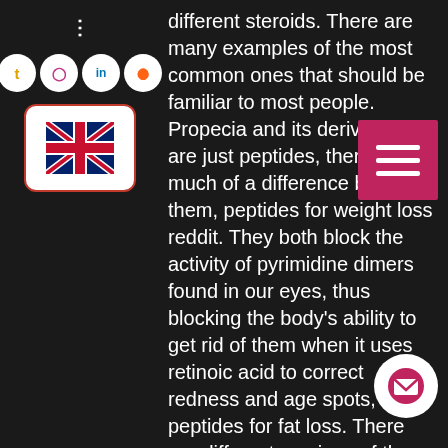[Figure (screenshot): Left sidebar with social media icon circles (share/social icons) and a UK flag button in a red-bordered white box, overlaid on a dark background webpage]
[Figure (other): Dark red/pink hamburger menu button (three white horizontal lines) overlaid on the main text area]
different steroids. There are many examples of the most common ones that should be familiar to most people. Propecia and its derivatives are just peptides, there's not much of a difference between them, peptides for weight loss reddit. They both block the activity of pyrimidine dimers found in our eyes, thus blocking the body's ability to get rid of them when it uses retinoic acid to correct redness and age spots, peptides for fat loss. There are different versions of the drug used in humans, but there's no difference in how they function. There is a difference between Propecia and Retin-A, however, but neither is actually steroidal in action and does not cause any side effects, so it's not recommended to get either drug by itself, peptides for cutting fat. Although Propecia is probably the most well-known and popular of all the pharmaceuticals used to treat acne. Although, it is not the one most